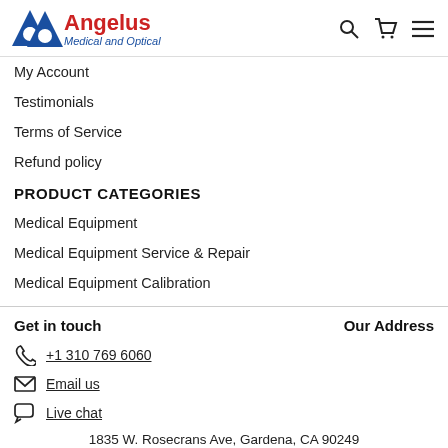Angelus Medical and Optical
My Account
Testimonials
Terms of Service
Refund policy
PRODUCT CATEGORIES
Medical Equipment
Medical Equipment Service & Repair
Medical Equipment Calibration
Get in touch
Our Address
+1 310 769 6060
Email us
Live chat
1835 W. Rosecrans Ave, Gardena, CA 90249